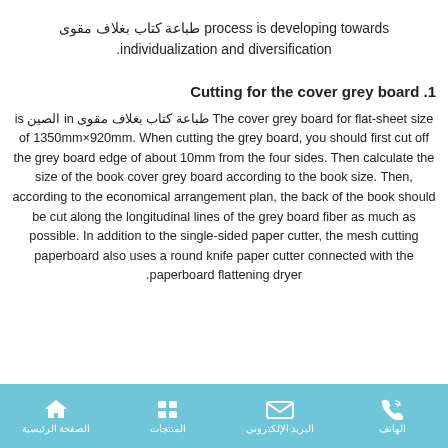طباعة كتاب بغلاف مقوى process is developing towards individualization and diversification.
1. Cutting for the cover grey board
The cover grey board for طباعة كتاب بغلاف مقوى in الصين is flat-sheet size of 1350mm×920mm. When cutting the grey board, you should first cut off the grey board edge of about 10mm from the four sides. Then calculate the size of the book cover grey board according to the book size. Then, according to the economical arrangement plan, the back of the book should be cut along the longitudinal lines of the grey board fiber as much as possible. In addition to the single-sided paper cutter, the mesh cutting paperboard also uses a round knife paper cutter connected with the paperboard flattening dryer.
الصفحة الرئيسية | المنتجات | البريد الإلكتروني | الهاتف